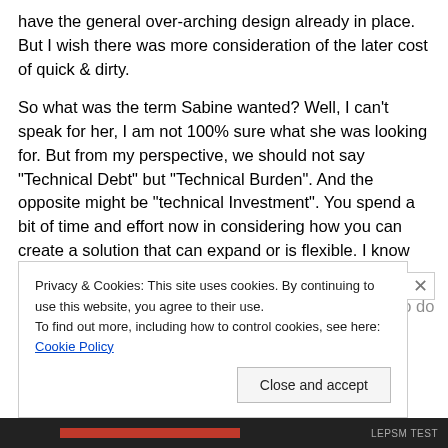have the general over-arching design already in place. But I wish there was more consideration of the later cost of quick & dirty.
So what was the term Sabine wanted? Well, I can't speak for her, I am not 100% sure what she was looking for. But from my perspective, we should not say "Technical Debt" but "Technical Burden". And the opposite might be "technical Investment". You spend a bit of time and effort now in considering how you can create a solution that can expand or is flexible. I know from my own personal experience that it is when you are given the chance to do
Privacy & Cookies: This site uses cookies. By continuing to use this website, you agree to their use.
To find out more, including how to control cookies, see here: Cookie Policy